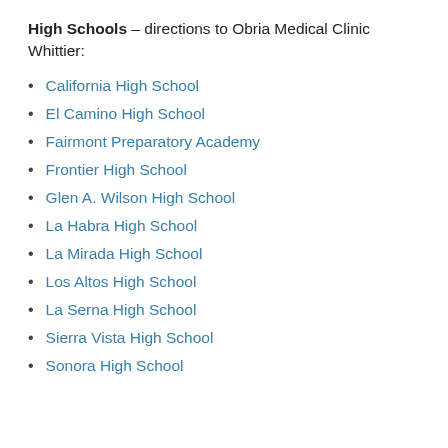High Schools – directions to Obria Medical Clinic Whittier:
California High School
El Camino High School
Fairmont Preparatory Academy
Frontier High School
Glen A. Wilson High School
La Habra High School
La Mirada High School
Los Altos High School
La Serna High School
Sierra Vista High School
Sonora High School